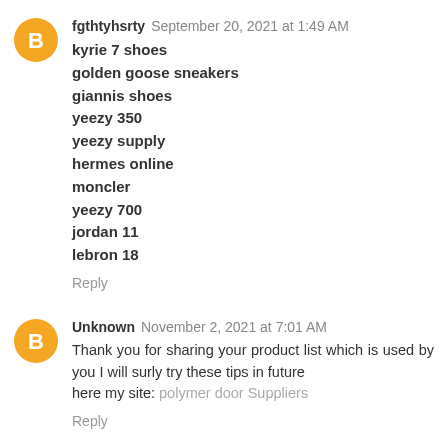fgthtyhsrty  September 20, 2021 at 1:49 AM
kyrie 7 shoes
golden goose sneakers
giannis shoes
yeezy 350
yeezy supply
hermes online
moncler
yeezy 700
jordan 11
lebron 18
Reply
Unknown  November 2, 2021 at 7:01 AM
Thank you for sharing your product list which is used by you I will surly try these tips in future
here my site: polymer door Suppliers
Reply